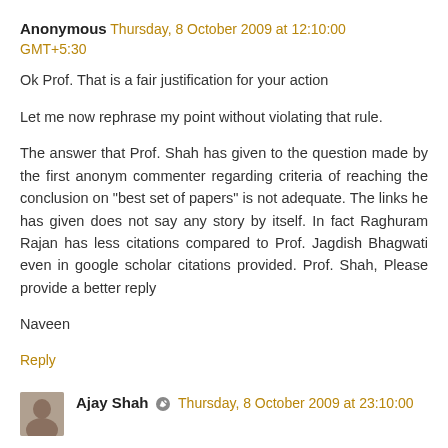Anonymous  Thursday, 8 October 2009 at 12:10:00 GMT+5:30
Ok Prof. That is a fair justification for your action
Let me now rephrase my point without violating that rule.
The answer that Prof. Shah has given to the question made by the first anonym commenter regarding criteria of reaching the conclusion on "best set of papers" is not adequate. The links he has given does not say any story by itself. In fact Raghuram Rajan has less citations compared to Prof. Jagdish Bhagwati even in google scholar citations provided. Prof. Shah, Please provide a better reply
Naveen
Reply
Ajay Shah  Thursday, 8 October 2009 at 23:10:00